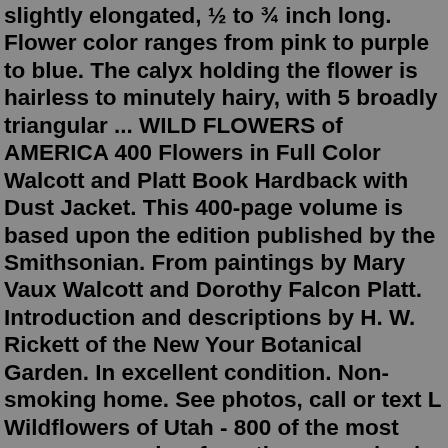slightly elongated, ½ to ¾ inch long. Flower color ranges from pink to purple to blue. The calyx holding the flower is hairless to minutely hairy, with 5 broadly triangular ... WILD FLOWERS of AMERICA 400 Flowers in Full Color Walcott and Platt Book Hardback with Dust Jacket. This 400-page volume is based upon the edition published by the Smithsonian. From paintings by Mary Vaux Walcott and Dorothy Falcon Platt. Introduction and descriptions by H. W. Rickett of the New Your Botanical Garden. In excellent condition. Non-smoking home. See photos, call or text L Wildflowers of Utah - 800 of the most common species, from the canyonlands, the mountains, the high deserts and the Great Basin - directory, photographs and descriptions Wildflower Identification. Free Wildflower ID App for Android phones - nice and tiny! This is an identification program for wildflowers in the northeastern and north-central parts of United States and adjacent Canada (if you live on the West Coast, try Reny's Wildflowers ). Fill out the form as best as you can and